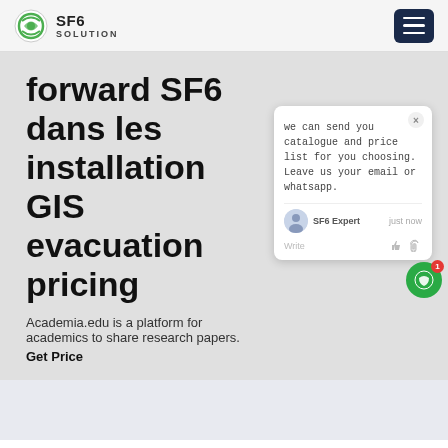SF6 SOLUTION
forward SF6 dans les installation GIS evacuation pricing
Academia.edu is a platform for academics to share research papers.
Get Price
[Figure (screenshot): Chat popup widget showing message: 'we can send you catalogue and price list for you choosing. Leave us your email or whatsapp.' with SF6 Expert avatar and 'just now' timestamp, Write input box with like and attachment icons]